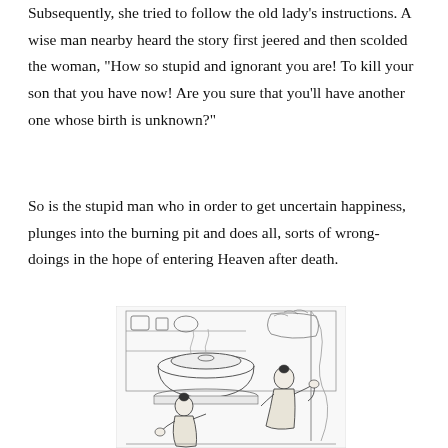Subsequently, she tried to follow the old lady's instructions. A wise man nearby heard the story first jeered and then scolded the woman, "How so stupid and ignorant you are! To kill your son that you have now! Are you sure that you'll have another one whose birth is unknown?"
So is the stupid man who in order to get uncertain happiness, plunges into the burning pit and does all, sorts of wrong-doings in the hope of entering Heaven after death.
[Figure (illustration): A traditional Chinese ink illustration showing two figures in a kitchen or domestic setting. One figure appears to be gesturing or explaining something to another figure, with cooking vessels and shelves visible in the background.]